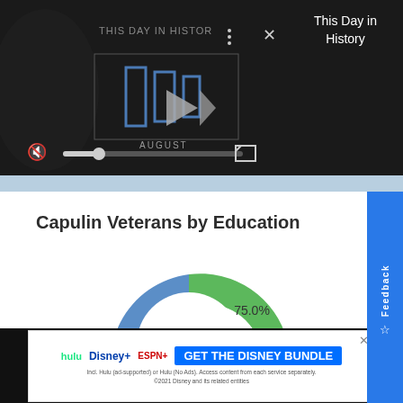[Figure (screenshot): Video player showing 'This Day in History' with play/forward controls, progress bar, mute button, and fullscreen button on dark background. Title text 'THIS DAY IN HISTOR...' visible with three-dot menu and X close button.]
This Day in History
Capulin Veterans by Education
[Figure (donut-chart): Veterans by Education]
[Figure (screenshot): Advertisement banner: GET THE DISNEY BUNDLE with Hulu, Disney+, ESPN+ logos. Fine print: Incl. Hulu (ad-supported) or Hulu (No Ads). Access content from each service separately. ©2021 Disney and its related entities]